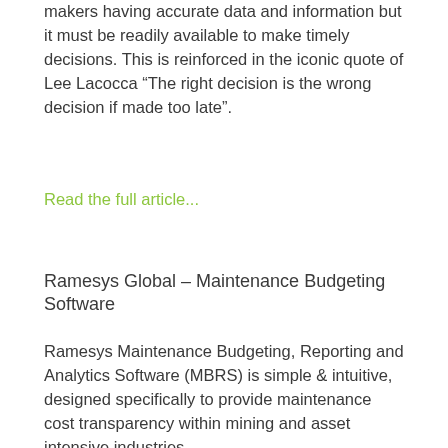makers having accurate data and information but it must be readily available to make timely decisions. This is reinforced in the iconic quote of Lee Lacocca “The right decision is the wrong decision if made too late”.
Read the full article...
Ramesys Global – Maintenance Budgeting Software
Ramesys Maintenance Budgeting, Reporting and Analytics Software (MBRS) is simple & intuitive, designed specifically to provide maintenance cost transparency within mining and asset intensive industries.